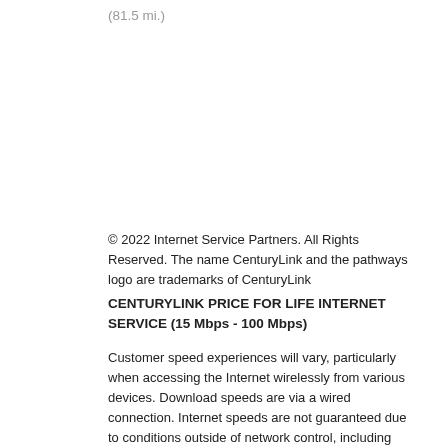(81.5 mi.)
© 2022 Internet Service Partners. All Rights Reserved. The name CenturyLink and the pathways logo are trademarks of CenturyLink
CENTURYLINK PRICE FOR LIFE INTERNET SERVICE (15 Mbps - 100 Mbps)
Customer speed experiences will vary, particularly when accessing the Internet wirelessly from various devices. Download speeds are via a wired connection. Internet speeds are not guaranteed due to conditions outside of network control, including customer location, devices, equipment, and access through a wired or wireless connection; see centurylink.com/InternetPolicy for more information
Service and offer not available everywhere. Available to new qualifying, residential customers and current CenturyLink residential customers who qualify; contact CenturyLink for details. Limited time offer. Credit check, deposit or prepayment with a credit or debit card may be required. Rate applies to the fastest Internet speed CenturyLink offers at your home, capped